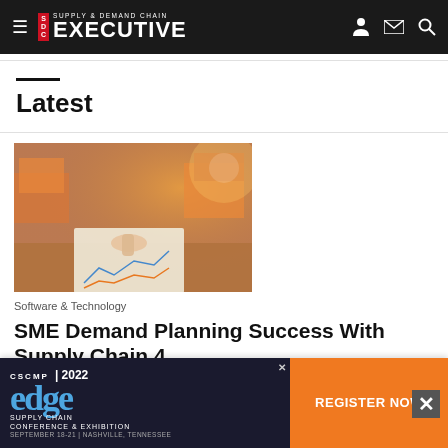Supply & Demand Chain Executive
Latest
[Figure (photo): Person pointing at documents/charts on a desk with packages in background, warm orange-lit scene]
Software & Technology
SME Demand Planning Success With Supply Chain 4...
Demand planning is tricky. Accuracy is a constant challenge. And...
[Figure (infographic): CSCMP 2022 Edge Supply Chain Conference & Exhibition advertisement banner with Register Now button]